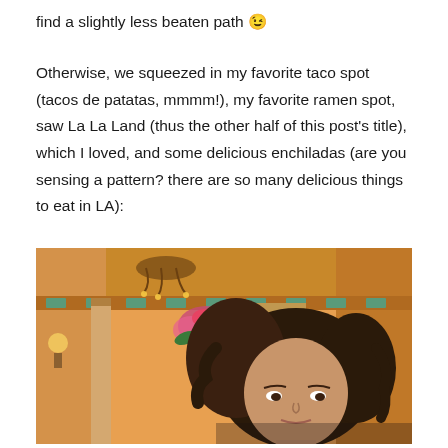find a slightly less beaten path 😉
Otherwise, we squeezed in my favorite taco spot (tacos de patatas, mmmm!), my favorite ramen spot, saw La La Land (thus the other half of this post's title), which I loved, and some delicious enchiladas (are you sensing a pattern? there are so many delicious things to eat in LA):
[Figure (photo): Woman with curly dark hair in a colorful Mexican restaurant interior with warm orange walls, decorative border, chandelier, and floral arrangement in background.]